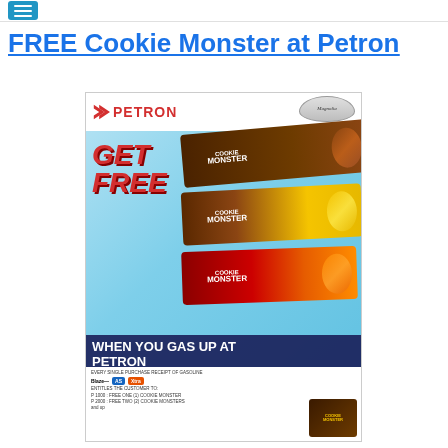FREE Cookie Monster at Petron
[Figure (photo): Petron promotional advertisement showing GET FREE Cookie Monster chocolate snacks when you gas up at Petron. Features three Cookie Monster chocolate packages (dark, yellow, and red varieties), Petron logo, Magnolia Fiesta Duterte branding, and text reading 'WHEN YOU GAS UP AT PETRON'. Fine print shows purchase tiers: P1000 = free one Cookie Monster, P2000 = free two Cookie Monsters.]